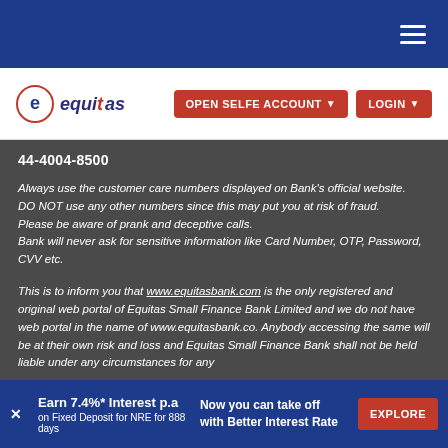Equitas Bank – navigation header with hamburger menu
[Figure (logo): Equitas Small Finance Bank logo with stylized 'e' circle and equitas wordmark]
44-4004-8500
Always use the customer care numbers displayed on Bank's official website.
DO NOT use any other numbers since this may put you at risk of fraud.
Please be aware of prank and deceptive calls.
Bank will never ask for sensitive information like Card Number, OTP, Password, CVV etc.
This is to inform you that www.equitasbank.com is the only registered and original web portal of Equitas Small Finance Bank Limited and we do not have web portal in the name of www.equitasbank.co. Anybody accessing the same will be at their own risk and loss and Equitas Small Finance Bank shall not be held liable under any circumstances for any
Earn 7.4%* Interest p.a on Fixed Deposit for NRE for 888 days | Now you can take off with Better Interest Rate | EXPLORE